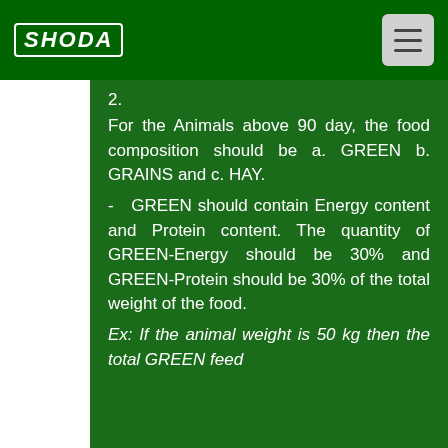SHODA
For the Animals above 90 day, the food composition should be a. GREEN b. GRAINS and c. HAY.
- GREEN should contain Energy content and Protein content. The quantity of GREEN-Energy should be 30% and GREEN-Protein should be 30% of the total weight of the food.
Ex: If the animal weight is 50 kg then the total GREEN feed